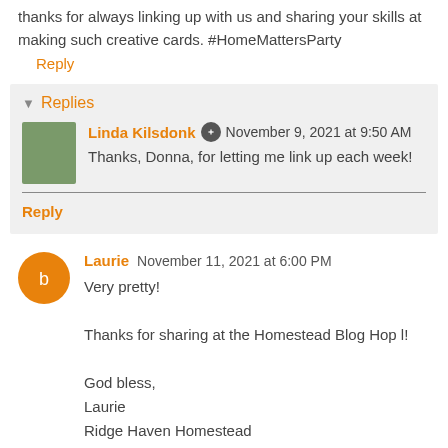thanks for always linking up with us and sharing your skills at making such creative cards. #HomeMattersParty
Reply
Replies
Linda Kilsdonk  November 9, 2021 at 9:50 AM
Thanks, Donna, for letting me link up each week!
Reply
Laurie  November 11, 2021 at 6:00 PM
Very pretty!

Thanks for sharing at the Homestead Blog Hop l!

God bless,
Laurie
Ridge Haven Homestead